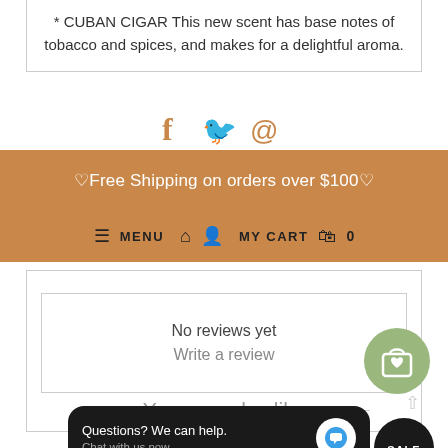* CUBAN CIGAR This new scent has base notes of tobacco and spices, and makes for a delightful aroma.
[Figure (illustration): Social sharing icons: Facebook (f), Twitter (bird), Email (@) in tan/gold color]
♡Free Shipping on orders over $100♡
≡ MENU  🏠  👤  MY CART  🛍  0
No reviews yet
Write a review
[Figure (illustration): Floating green circular cart with heart icon button]
You may also like
[Figure (screenshot): Chat widget: 'Questions? We can help. Chat with us now.' with blue chat bubble icon on black rounded rectangle background]
[Figure (illustration): Black circular SALE badge, partially visible at bottom right]